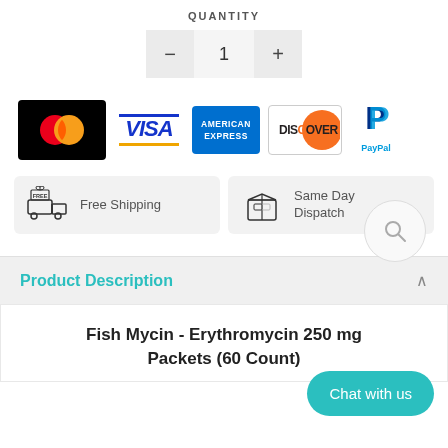QUANTITY
[Figure (screenshot): Quantity selector with minus button, 1, plus button]
[Figure (screenshot): Search magnifying glass icon in a circle]
[Figure (infographic): Payment logos: Mastercard, VISA, American Express, Discover, PayPal]
[Figure (infographic): Free Shipping badge with truck icon and Same Day Dispatch badge with box icon]
Product Description
Fish Mycin - Erythromycin 250 mg Packets (60 Count)
[Figure (screenshot): Chat with us teal button in bottom right]